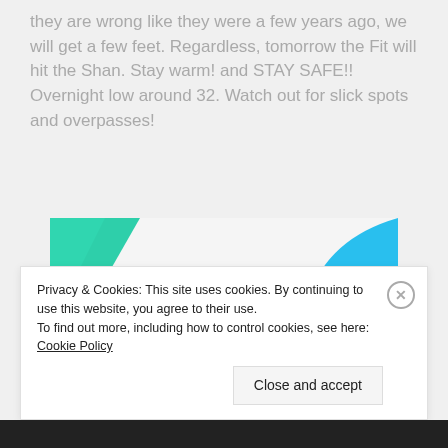they are wrong like they were a few years ago, we will get a few feet. Regardless, tomorrow the Fit will hit the Shan. Stay warm! and STAY SAFE!! Overnight low around 32. Watch out for slick spots and overpasses!
[Figure (illustration): Advertisement banner for 'How to start selling subscriptions online' with green and blue decorative shapes and a purple button.]
Privacy & Cookies: This site uses cookies. By continuing to use this website, you agree to their use.
To find out more, including how to control cookies, see here: Cookie Policy